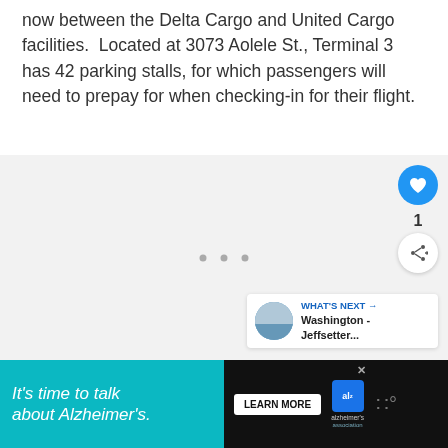now between the Delta Cargo and United Cargo facilities.  Located at 3073 Aolele St., Terminal 3 has 42 parking stalls, for which passengers will need to prepay for when checking-in for their flight.
[Figure (screenshot): Gray content placeholder area with three dots indicating loading or ad content. Contains UI elements: like button (heart icon, blue circle), like count (1), share button, and a 'What's Next' card showing a Washington - Jeffsetter... article thumbnail.]
[Figure (screenshot): Advertisement banner with dark background. Teal section reads 'It's time to talk about Alzheimer's.' with a Learn More button, Alzheimer's Association logo, and a weather app icon on the right.]